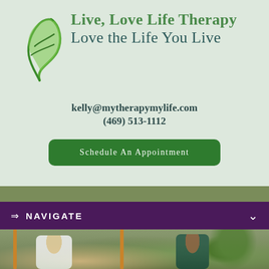[Figure (logo): Live, Love Life Therapy logo with green leaf/ribbon icon and two-line brand name]
kelly@mytherapymylife.com
(469) 513-1112
Schedule An Appointment
⇒ NAVIGATE
[Figure (photo): Two women sitting on swings in an outdoor park setting with trees in background]